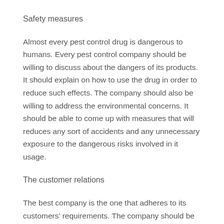Safety measures
Almost every pest control drug is dangerous to humans. Every pest control company should be willing to discuss about the dangers of its products. It should explain on how to use the drug in order to reduce such effects. The company should also be willing to address the environmental concerns. It should be able to come up with measures that will reduces any sort of accidents and any unnecessary exposure to the dangerous risks involved in it usage.
The customer relations
The best company is the one that adheres to its customers’ requirements. The company should be willing to address any concerns raised by its customers. They should be ready to clarify in details the degree of pest control and its effects.